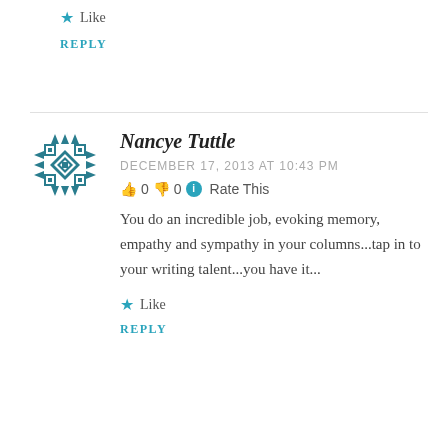★ Like
REPLY
Nancye Tuttle
DECEMBER 17, 2013 AT 10:43 PM
👍 0 👎 0 ℹ Rate This
You do an incredible job, evoking memory, empathy and sympathy in your columns...tap in to your writing talent...you have it...
★ Like
REPLY